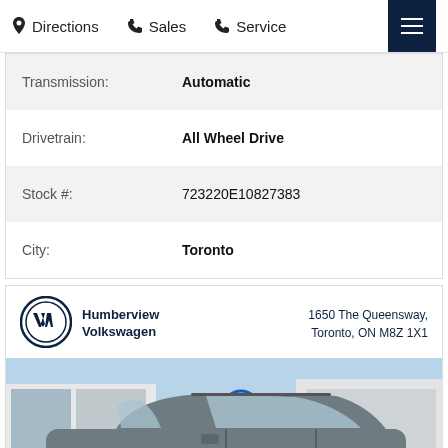Directions  Sales  Service
| Field | Value |
| --- | --- |
| Transmission: | Automatic |
| Drivetrain: | All Wheel Drive |
| Stock #: | 723220E10827383 |
| City: | Toronto |
[Figure (photo): Humberview Volkswagen dealership photo showing a grey Volkswagen Tiguan SUV parked in front of the dealership building. Dealer logo and address '1650 The Queensway, Toronto, ON M8Z 1X1' shown at top. 'Value Your Trade' button overlaid at bottom right.]